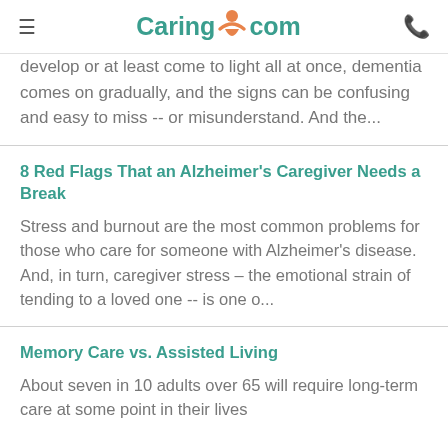Caring.com
develop or at least come to light all at once, dementia comes on gradually, and the signs can be confusing and easy to miss -- or misunderstand. And the...
8 Red Flags That an Alzheimer's Caregiver Needs a Break
Stress and burnout are the most common problems for those who care for someone with Alzheimer's disease. And, in turn, caregiver stress – the emotional strain of tending to a loved one -- is one o...
Memory Care vs. Assisted Living
About seven in 10 adults over 65 will require long-term care at some point in their lives